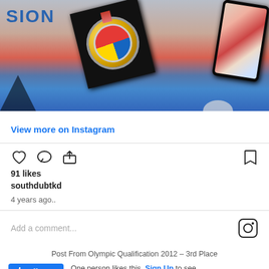[Figure (photo): Instagram post photo showing a sports medal on a black plaque/frame tilted, with red and blue mats in background, partial text 'SION' in blue, and a smartphone showing taekwondo competition]
View more on Instagram
91 likes
southdubtkd
4 years ago..
Add a comment...
Post From Olympic Qualification 2012 – 3rd Place
One person likes this. Sign Up to see what your friends like.